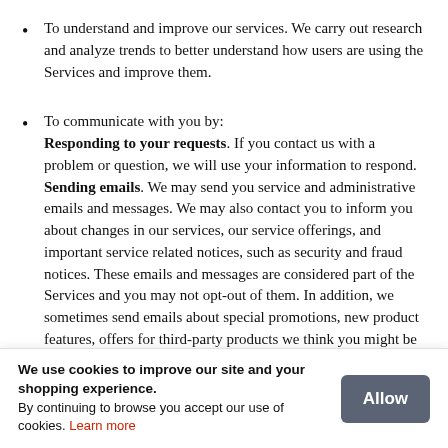To understand and improve our services. We carry out research and analyze trends to better understand how users are using the Services and improve them.
To communicate with you by: Responding to your requests. If you contact us with a problem or question, we will use your information to respond. Sending emails. We may send you service and administrative emails and messages. We may also contact you to inform you about changes in our services, our service offerings, and important service related notices, such as security and fraud notices. These emails and messages are considered part of the Services and you may not opt-out of them. In addition, we sometimes send emails about special promotions, new product features, offers for third-party products we think you might be interested to you, or other news about our services and our
We use cookies to improve our site and your shopping experience. By continuing to browse you accept our use of cookies. Learn more